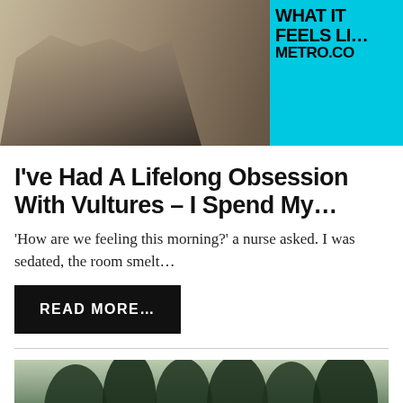[Figure (photo): Photo of people outdoors with Metro.co website branding overlay in teal/cyan color on top right]
I've Had A Lifelong Obsession With Vultures – I Spend My...
'How are we feeling this morning?' a nurse asked. I was sedated, the room smelt…
READ MORE...
[Figure (photo): Photo of a misty forest with trees silhouetted against a hazy sky, with a structure visible below]